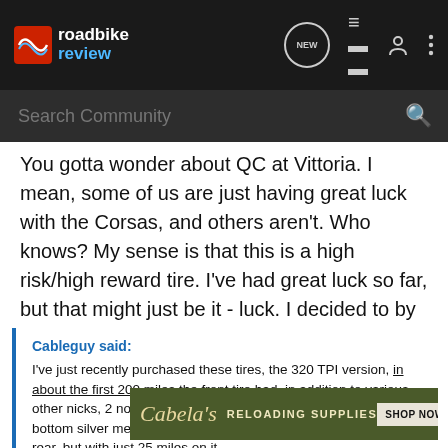roadbike review
Search Community
You gotta wonder about QC at Vittoria. I mean, some of us are just having great luck with the Corsas, and others aren't. Who knows? My sense is that this is a high risk/high reward tire. I've had great luck so far, but that might just be it - luck. I decided to by GP 4000s as a replacement because it seems they are just more reliable, if perhaps not quite as supple.
Cableguy said:
I've just recently purchased these tires, the 320 TPI version, in about the first 200 miles the front tire had, in addition to various other nicks, 2 noticeable chunks of rubber torn, revealing the bottom silver mesh layer. Same thing had happened with the rear, but with just 25 miles on it (e... the rear la... my previo... them
[Figure (screenshot): Cabela's Reloading Supplies advertisement banner with Shop Now button]